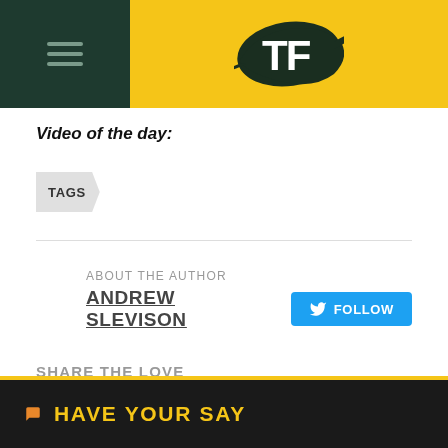[Figure (logo): TF logo in yellow header with hamburger menu on dark green left panel]
Video of the day:
TAGS
ABOUT THE AUTHOR
ANDREW SLEVISON
FOLLOW
SHARE THE LOVE
HAVE YOUR SAY